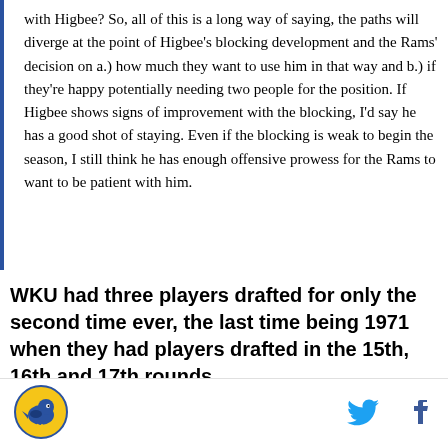with Higbee? So, all of this is a long way of saying, the paths will diverge at the point of Higbee's blocking development and the Rams' decision on a.) how much they want to use him in that way and b.) if they're happy potentially needing two people for the position. If Higbee shows signs of improvement with the blocking, I'd say he has a good shot of staying. Even if the blocking is weak to begin the season, I still think he has enough offensive prowess for the Rams to want to be patient with him.
WKU had three players drafted for only the second time ever, the last time being 1971 when they had players drafted in the 15th, 16th and 17th rounds.
Clearly, they're going to have a tough time
[Figure (logo): WKU (Western Kentucky University) logo — circular yellow and blue bird mascot]
[Figure (logo): Twitter bird icon in blue]
[Figure (logo): Facebook f icon in dark blue]